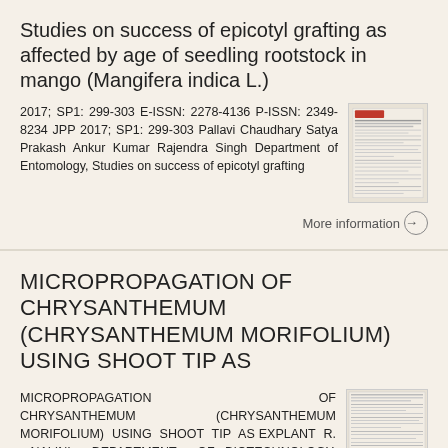Studies on success of epicotyl grafting as affected by age of seedling rootstock in mango (Mangifera indica L.)
2017; SP1: 299-303 E-ISSN: 2278-4136 P-ISSN: 2349-8234 JPP 2017; SP1: 299-303 Pallavi Chaudhary Satya Prakash Ankur Kumar Rajendra Singh Department of Entomology, Studies on success of epicotyl grafting
More information →
MICROPROPAGATION OF CHRYSANTHEMUM (CHRYSANTHEMUM MORIFOLIUM) USING SHOOT TIP AS
MICROPROPAGATION OF CHRYSANTHEMUM (CHRYSANTHEMUM MORIFOLIUM) USING SHOOT TIP AS EXPLANT R. Nalini Department of Biotechnology, Adhiparasakthi Agricultural College